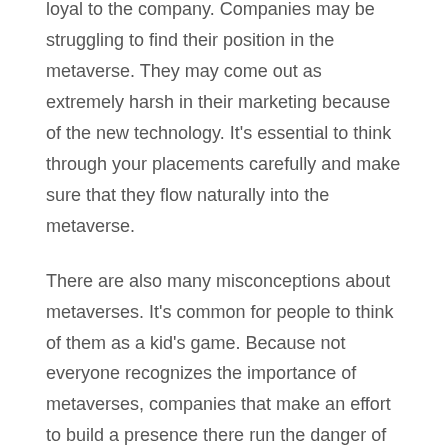loyal to the company. Companies may be struggling to find their position in the metaverse. They may come out as extremely harsh in their marketing because of the new technology. It's essential to think through your placements carefully and make sure that they flow naturally into the metaverse.
There are also many misconceptions about metaverses. It's common for people to think of them as a kid's game. Because not everyone recognizes the importance of metaverses, companies that make an effort to build a presence there run the danger of being dismissed.
In the metaverse, data privacy and security are still a problem. There is a need for more advanced security measures as new technology emerges. This necessitates the creation of brand-new approaches for safeguarding the privacy and security of user data. Personal verification, for example, may need the submission of more data by users, posing an increased threat to their privacy.